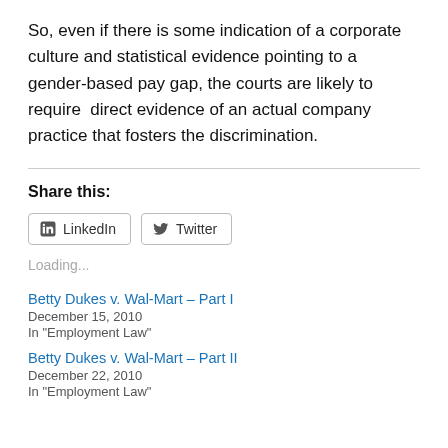So, even if there is some indication of a corporate culture and statistical evidence pointing to a gender-based pay gap, the courts are likely to require  direct evidence of an actual company practice that fosters the discrimination.
Share this:
[Figure (other): Share buttons for LinkedIn and Twitter]
Loading...
Betty Dukes v. Wal-Mart – Part I
December 15, 2010
In "Employment Law"
Betty Dukes v. Wal-Mart – Part II
December 22, 2010
In "Employment Law"